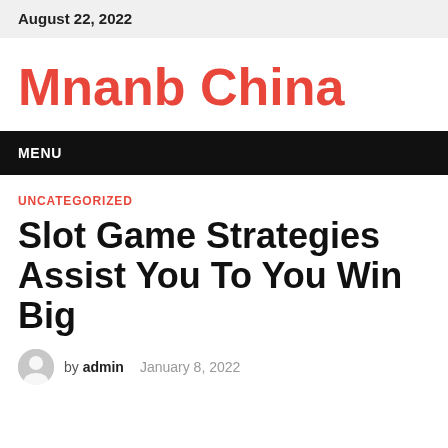August 22, 2022
Mnanb China
MENU
UNCATEGORIZED
Slot Game Strategies Assist You To You Win Big
by admin   January 8, 2022